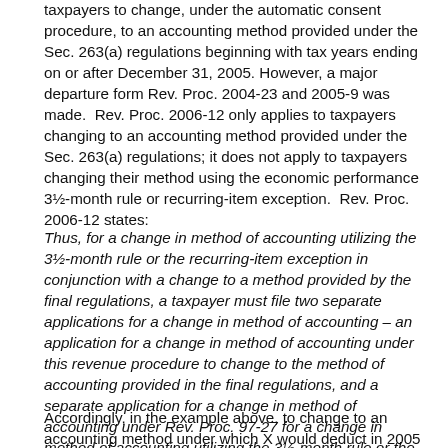taxpayers to change, under the automatic consent procedure, to an accounting method provided under the Sec. 263(a) regulations beginning with tax years ending on or after December 31, 2005. However, a major departure form Rev. Proc. 2004-23 and 2005-9 was made. Rev. Proc. 2006-12 only applies to taxpayers changing to an accounting method provided under the Sec. 263(a) regulations; it does not apply to taxpayers changing their method using the economic performance 3½-month rule or recurring-item exception. Rev. Proc. 2006-12 states:
Thus, for a change in method of accounting utilizing the 3½-month rule or the recurring-item exception in conjunction with a change to a method provided by the final regulations, a taxpayer must file two separate applications for a change in method of accounting – an application for a change in method of accounting under this revenue procedure to change to the method of accounting provided in the final regulations, and a separate application for a change in method of accounting under Rev. Proc. 97-27 for a change in method of accounting utilizing the 3½-month rule or the recurring-item exception.
Accordingly, in the example above, to change to an accounting method under which X would deduct in 2005 the i...